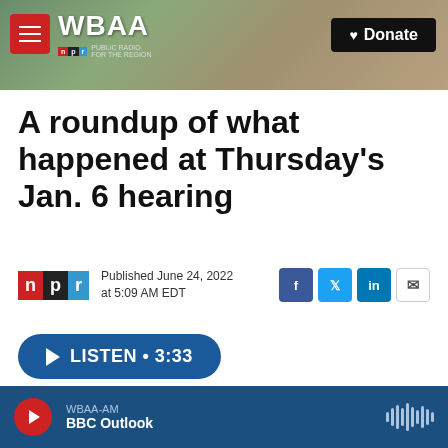WBAA — Donate
A roundup of what happened at Thursday's Jan. 6 hearing
Published June 24, 2022 at 5:09 AM EDT
LISTEN • 3:33
WBAA-AM BBC Outlook